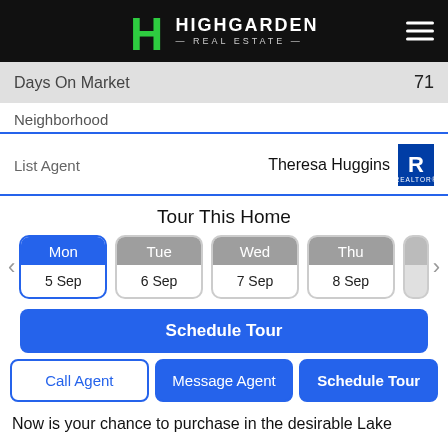[Figure (logo): Highgarden Real Estate logo with green H icon on black background header bar]
Days On Market   71
Neighborhood
List Agent   Theresa Huggins
Tour This Home
Mon 5 Sep | Tue 6 Sep | Wed 7 Sep | Thu 8 Sep
Schedule Tour
Call Agent | Message Agent | Schedule Tour
Now is your chance to purchase in the desirable Lake